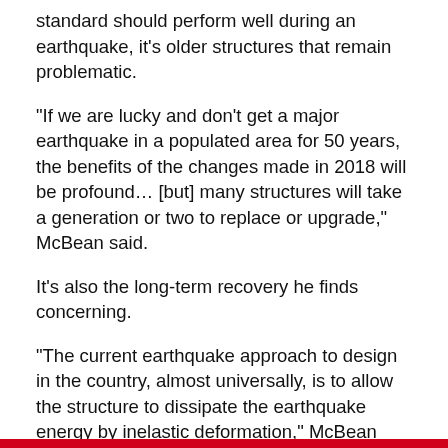standard should perform well during an earthquake, it's older structures that remain problematic.
“If we are lucky and don’t get a major earthquake in a populated area for 50 years, the benefits of the changes made in 2018 will be profound… [but] many structures will take a generation or two to replace or upgrade,” McBean said.
It’s also the long-term recovery he finds concerning.
“The current earthquake approach to design in the country, almost universally, is to allow the structure to dissipate the earthquake energy by inelastic deformation,” McBean said.
“If there’s a hit on a major city at the moment, even if the buildings were designed well, we’d be bulldozing most of the city and rebuilding it. The economic and